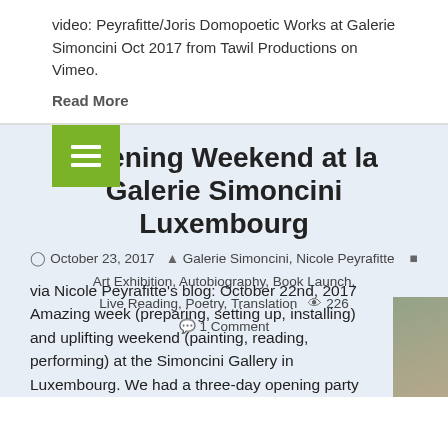video: Peyrafitte/Joris Domopoetic Works at Galerie Simoncini Oct 2017 from Tawil Productions on Vimeo.
Read More
[Figure (other): Green hamburger menu button icon]
Opening Weekend at la Galerie Simoncini Luxembourg
October 23, 2017  Galerie Simoncini, Nicole Peyrafitte  Art Exhibition, Autobiography, Book Launch, Live Reading, Poetry, Translation  226  1 Comment
via Nicole Peyrafitte's blog: October 22nd, 2017 Amazing week (preparing, setting up, installing) and uplifting weekend (painting, reading, performing) at the Simoncini Gallery in Luxembourg. We had a three-day opening party